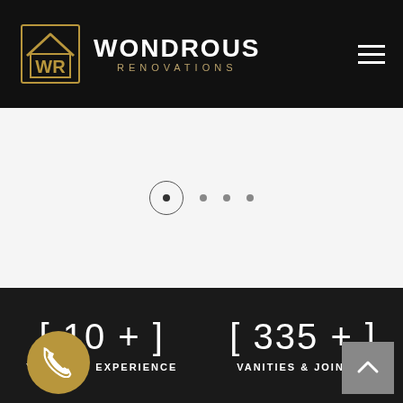[Figure (logo): Wondrous Renovations logo with golden house/WR icon and white WONDROUS text with golden RENOVATIONS text below, on black background]
[Figure (screenshot): Website slider navigation dots - one active dot in circle, three inactive small dots, on light grey background]
[10+]
YEARS OF EXPERIENCE
[335+]
VANITIES & JOINERY
[Figure (illustration): Golden circular phone call button with white telephone handset icon]
[Figure (illustration): Grey square scroll-to-top button with white upward arrow]